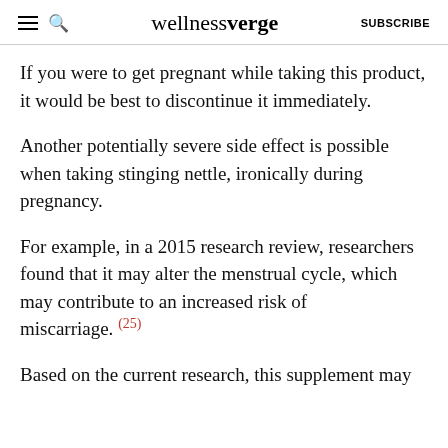wellnessverge
If you were to get pregnant while taking this product, it would be best to discontinue it immediately.
Another potentially severe side effect is possible when taking stinging nettle, ironically during pregnancy.
For example, in a 2015 research review, researchers found that it may alter the menstrual cycle, which may contribute to an increased risk of miscarriage. (25)
Based on the current research, this supplement may